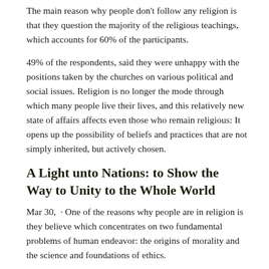The main reason why people don't follow any religion is that they question the majority of the religious teachings, which accounts for 60% of the participants.
49% of the respondents, said they were unhappy with the positions taken by the churches on various political and social issues. Religion is no longer the mode through which many people live their lives, and this relatively new state of affairs affects even those who remain religious: It opens up the possibility of beliefs and practices that are not simply inherited, but actively chosen.
A Light unto Nations: to Show the Way to Unity to the Whole World
Mar 30,  · One of the reasons why people are in religion is they believe which concentrates on two fundamental problems of human endeavor: the origins of morality and the science and foundations of ethics.